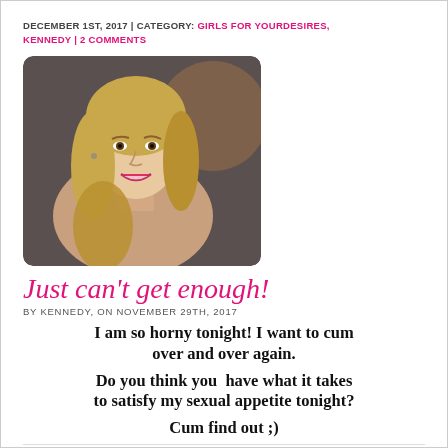DECEMBER 1ST, 2017 | CATEGORY: GIRLS FOR YOURDESIRES, KENNEDY | 2 COMMENTS
[Figure (photo): Portrait photo of a young blonde woman smiling with red lipstick, shoulder-length wavy hair, wearing minimal clothing, posed against a dark background.]
Just can't get enough!
BY KENNEDY, ON NOVEMBER 29TH, 2017
I am so horny tonight! I want to cum over and over again.
Do you think you  have what it takes to satisfy my sexual appetite tonight?
Cum find out ;)
NOVEMBER 29TH, 2017 | CATEGORY: GIRLS FOR YOURDESIRES